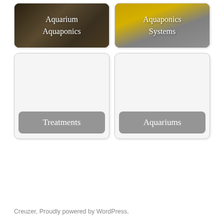[Figure (screenshot): Card with aquarium/garden image background showing text 'Aquarium Aquaponics']
[Figure (screenshot): Card with yellow/gray background showing text 'Aquaponics Systems']
[Figure (screenshot): Card with light gray background and label 'Treatments']
[Figure (screenshot): Card with light gray background and label 'Aquariums']
Creuzer, Proudly powered by WordPress.